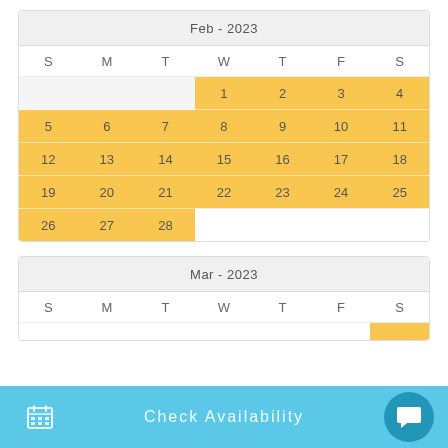| S | M | T | W | T | F | S |
| --- | --- | --- | --- | --- | --- | --- |
|  |  |  | 1 | 2 | 3 | 4 |
| 5 | 6 | 7 | 8 | 9 | 10 | 11 |
| 12 | 13 | 14 | 15 | 16 | 17 | 18 |
| 19 | 20 | 21 | 22 | 23 | 24 | 25 |
| 26 | 27 | 28 |  |  |  |  |
| S | M | T | W | T | F | S |
| --- | --- | --- | --- | --- | --- | --- |
Check Availability